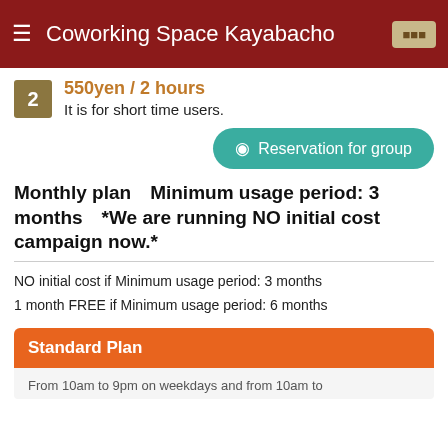Coworking Space Kayabacho
550yen / 2 hours
It is for short time users.
Reservation for group
Monthly plan　Minimum usage period: 3 months　*We are running NO initial cost campaign now.*
NO initial cost if Minimum usage period: 3 months
1 month FREE if Minimum usage period: 6 months
Standard Plan
From 10am to 9pm on weekdays and from 10am to